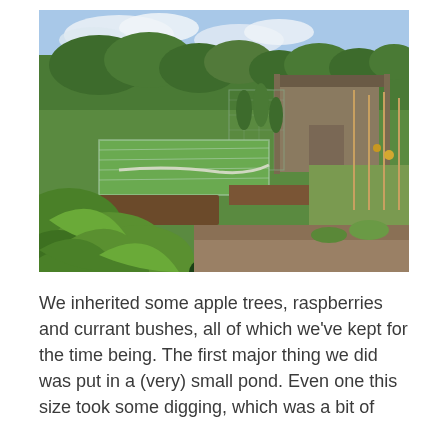[Figure (photo): An outdoor allotment garden with vegetable beds covered by netting, lush green plants in the foreground including large leafy plants, a wooden shed in the background, and trees and sky behind. Sunny day with some clouds.]
We inherited some apple trees, raspberries and currant bushes, all of which we've kept for the time being. The first major thing we did was put in a (very) small pond. Even one this size took some digging, which was a bit of